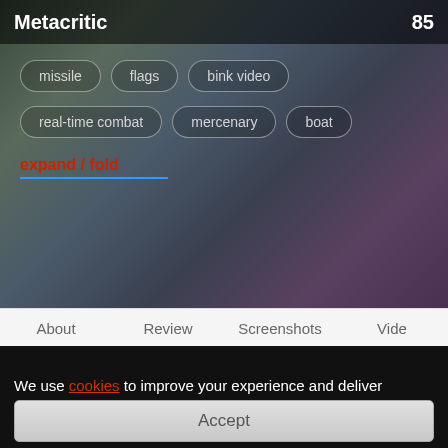Metacritic  85
missile
flags
bink video
real-time combat
mercenary
boat
expand / fold
About   Review   Screenshots   Video
We use cookies to improve your experience and deliver personalised content.
Accept